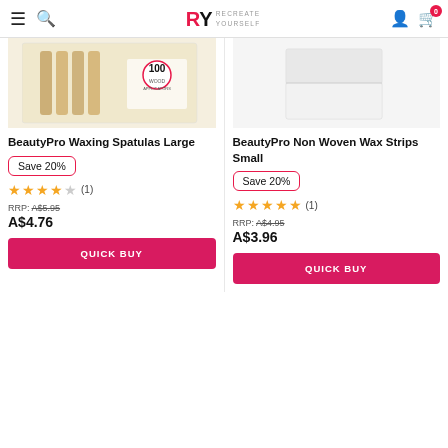RY RECREATE YOURSELF
[Figure (photo): Product image of BeautyPro Waxing Spatulas Large - wooden spatulas in packaging]
[Figure (photo): Product image of BeautyPro Non Woven Wax Strips Small - white folded strips]
BeautyPro Waxing Spatulas Large
Save 20%
★★★★☆ (1)
RRP: A$5.95
A$4.76
QUICK BUY
BeautyPro Non Woven Wax Strips Small
Save 20%
★★★★★ (1)
RRP: A$4.95
A$3.96
QUICK BUY